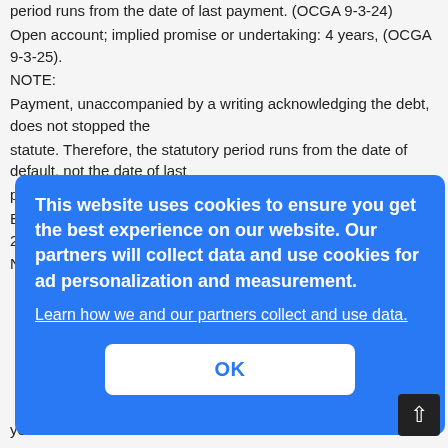period runs from the date of last payment. (OCGA 9-3-24)
Open account; implied promise or undertaking: 4 years, (OCGA 9-3-25).
NOTE:
Payment, unaccompanied by a writing acknowledging the debt, does not stopped the statute. Therefore, the statutory period runs from the date of default, not the date of last payment.
Bonds or other instruments under seal, 20 years, (OCGA 9-3-23) NOTE: No instrument.
...ment.
years.
[Figure (screenshot): Cookie consent overlay dialog with blue background. Text reads: 'This website uses cookies to ensure you get the best experience on our website. Our partners will collect data and use cookies for ad personalization and measurement.' followed by a link 'Learn how we and our partners collect and use data.' and an OK button.]